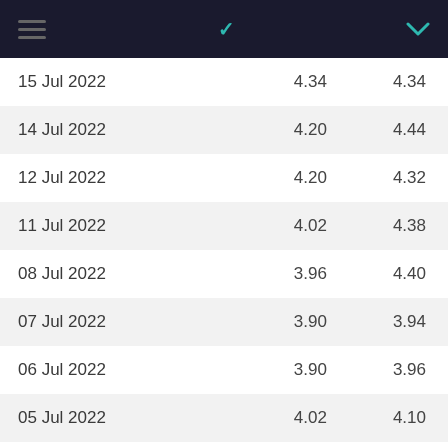| Date | Col1 | Col2 |
| --- | --- | --- |
| 15 Jul 2022 | 4.34 | 4.34 |
| 14 Jul 2022 | 4.20 | 4.44 |
| 12 Jul 2022 | 4.20 | 4.32 |
| 11 Jul 2022 | 4.02 | 4.38 |
| 08 Jul 2022 | 3.96 | 4.40 |
| 07 Jul 2022 | 3.90 | 3.94 |
| 06 Jul 2022 | 3.90 | 3.96 |
| 05 Jul 2022 | 4.02 | 4.10 |